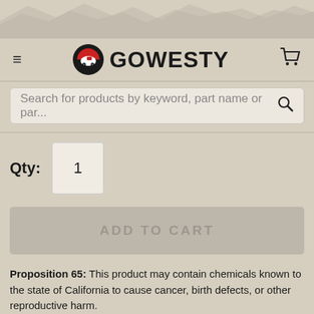[Figure (logo): GoWesty logo with mountain/camper van icon and bold GOWESTY text]
Search for products by keyword, part name or par...
Qty: 1
ADD TO CART
Proposition 65: This product may contain chemicals known to the state of California to cause cancer, birth defects, or other reproductive harm.